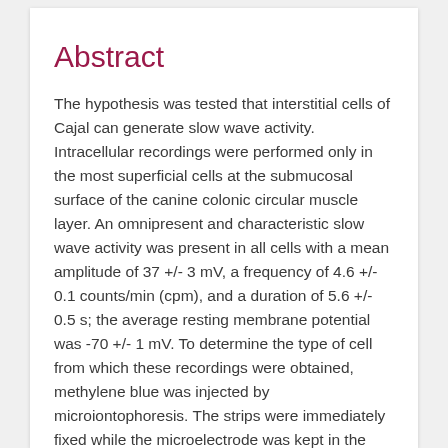Abstract
The hypothesis was tested that interstitial cells of Cajal can generate slow wave activity. Intracellular recordings were performed only in the most superficial cells at the submucosal surface of the canine colonic circular muscle layer. An omnipresent and characteristic slow wave activity was present in all cells with a mean amplitude of 37 +/- 3 mV, a frequency of 4.6 +/- 0.1 counts/min (cpm), and a duration of 5.6 +/- 0.5 s; the average resting membrane potential was -70 +/- 1 mV. To determine the type of cell from which these recordings were obtained, methylene blue was injected by microiontophoresis. The strips were immediately fixed while the microelectrode was kept in the cell. A small segment of the